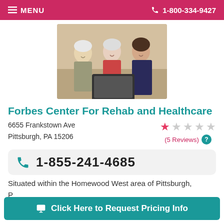MENU   1-800-334-9427
[Figure (photo): Three people (elderly man, elderly woman, and younger woman) sitting together looking at a tablet/laptop, in a warm indoor setting.]
Forbes Center For Rehab and Healthcare
6655 Frankstown Ave
Pittsburgh, PA 15206
(5 Reviews)
1-855-241-4685
Situated within the Homewood West area of Pittsburgh, P... a...
Click Here to Request Pricing Info